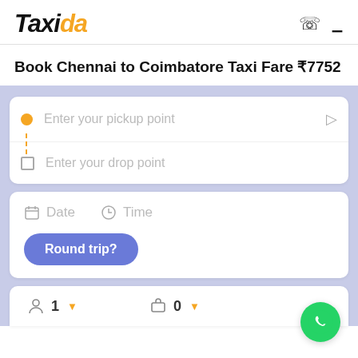[Figure (logo): Taxida logo with black italic bold text and orange 'da' letters]
Book Chennai to Coimbatore Taxi Fare ₹7752
[Figure (screenshot): Booking form with pickup point, drop point, date, time, round trip button, and passenger/luggage selector on a light lavender background]